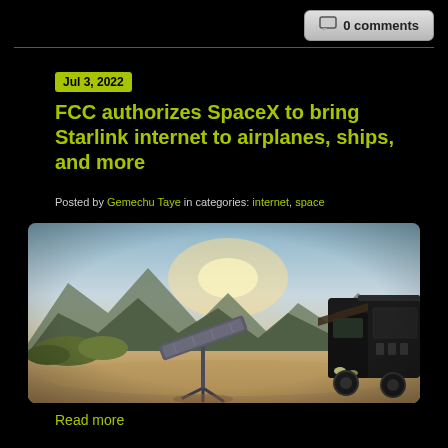0 comments
Jul 3, 2022
FCC authorizes SpaceX to bring Starlink internet to airplanes, ships, and more
Posted by Gemechu Taye in categories: internet, space
[Figure (photo): A Starlink satellite dish on a tripod stand in an outdoor desert landscape with mountains in the background and a large black truck/RV on the right side]
Read more